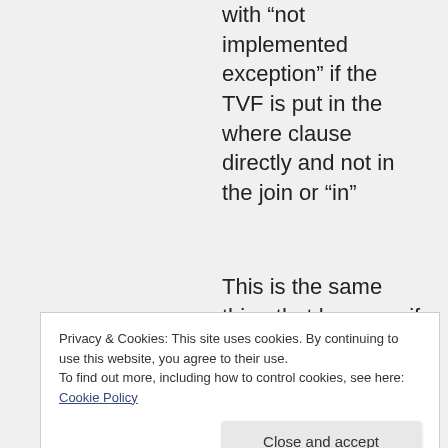with “not implemented exception” if the TVF is put in the where clause directly and not in the join or “in”
This is the same thing that happens if you call a standard .net function inside a
Privacy & Cookies: This site uses cookies. By continuing to use this website, you agree to their use.
To find out more, including how to control cookies, see here: Cookie Policy
Close and accept
You can easily